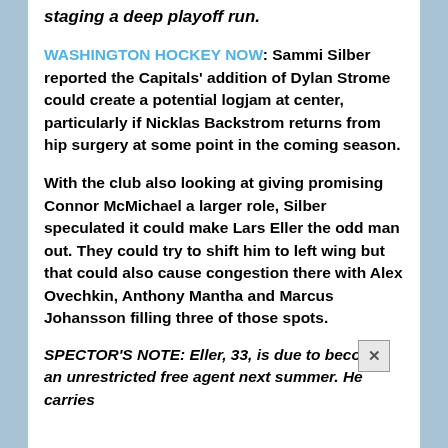staging a deep playoff run.
WASHINGTON HOCKEY NOW: Sammi Silber reported the Capitals' addition of Dylan Strome could create a potential logjam at center, particularly if Nicklas Backstrom returns from hip surgery at some point in the coming season.
With the club also looking at giving promising Connor McMichael a larger role, Silber speculated it could make Lars Eller the odd man out. They could try to shift him to left wing but that could also cause congestion there with Alex Ovechkin, Anthony Mantha and Marcus Johansson filling three of those spots.
SPECTOR'S NOTE: Eller, 33, is due to become an unrestricted free agent next summer. He carries